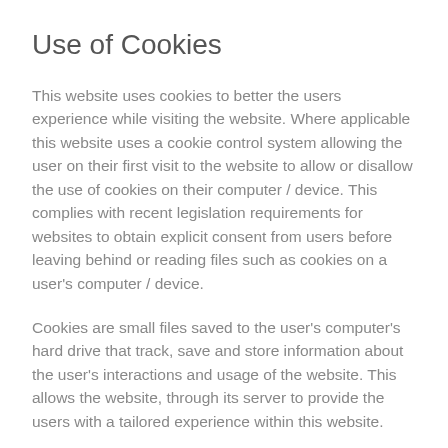Use of Cookies
This website uses cookies to better the users experience while visiting the website. Where applicable this website uses a cookie control system allowing the user on their first visit to the website to allow or disallow the use of cookies on their computer / device. This complies with recent legislation requirements for websites to obtain explicit consent from users before leaving behind or reading files such as cookies on a user's computer / device.
Cookies are small files saved to the user's computer's hard drive that track, save and store information about the user's interactions and usage of the website. This allows the website, through its server to provide the users with a tailored experience within this website.
Users are advised that if they wish to deny the use and